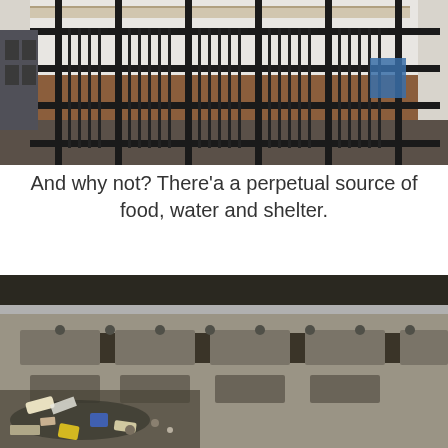[Figure (photo): Photo of a subway station platform showing black metal railings/fencing in front of a tiled wall with brown wainscoting. A blue sign is visible on the right side of the wall.]
And why not? There'a a perpetual source of food, water and shelter.
[Figure (photo): Close-up photo of subway train tracks showing concrete rail ties, a metal rail, and scattered trash/litter (bottles, wrappers, debris) on the ground between and beside the tracks.]